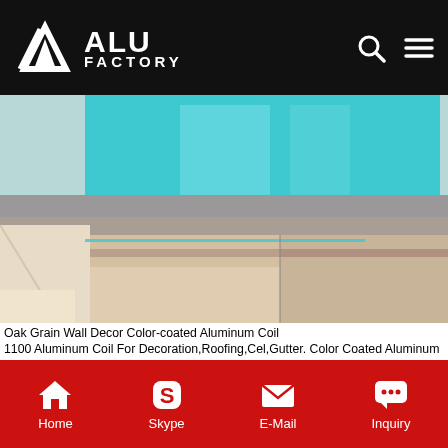ALU FACTORY
[Figure (photo): Stacked aluminum coils with blue protective film on top and beige/tan paper wrapping on lower coils, showing edge view of multiple coil stacks]
Oak Grain Wall Decor Color-coated Aluminum Coil 1100 Aluminum Coil For Decoration,Roofing,Cel,Gutter. Color Coated Aluminum Roofing Coil 1100, 1060, 3003. Construction Materials, Aluminum Alloy Coils, Aluminium Profile manufacturer / supplier in, offering Color Coated Aluminum Roofing Coil 1100, 1060, 3003 Alloy, 5052 Alloy 3.0mm Thickness OEM Colour Wood Grain Coating Aluminum Coils, Ral 7016 Matte Palette Structure 0.7mm Color Coating
Get Price
[Figure (photo): Partially visible strip of wrapped aluminum coils in gold/yellow tones]
Home  Skype  E-Mail  Inquiry